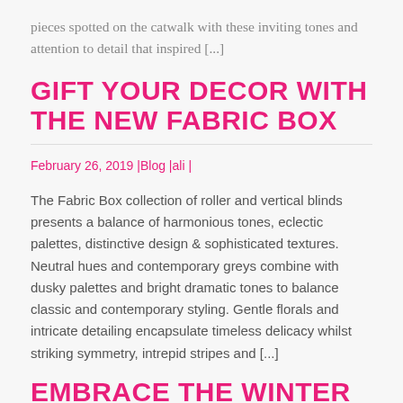pieces spotted on the catwalk with these inviting tones and attention to detail that inspired [...]
GIFT YOUR DECOR WITH THE NEW FABRIC BOX
February 26, 2019 | Blog | ali |
The Fabric Box collection of roller and vertical blinds presents a balance of harmonious tones, eclectic palettes, distinctive design & sophisticated textures. Neutral hues and contemporary greys combine with dusky palettes and bright dramatic tones to balance classic and contemporary styling. Gentle florals and intricate detailing encapsulate timeless delicacy whilst striking symmetry, intrepid stripes and [...]
EMBRACE THE WINTER